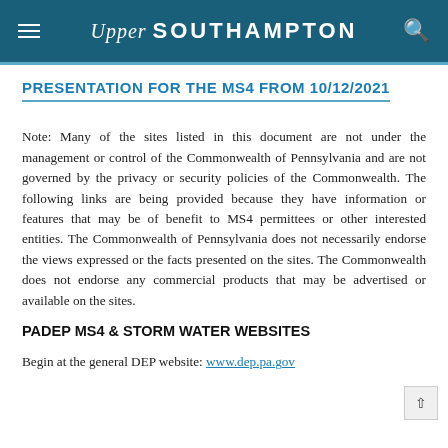Upper Southampton
PRESENTATION FOR THE MS4 FROM 10/12/2021
Note: Many of the sites listed in this document are not under the management or control of the Commonwealth of Pennsylvania and are not governed by the privacy or security policies of the Commonwealth. The following links are being provided because they have information or features that may be of benefit to MS4 permittees or other interested entities. The Commonwealth of Pennsylvania does not necessarily endorse the views expressed or the facts presented on the sites. The Commonwealth does not endorse any commercial products that may be advertised or available on the sites.
PADEP MS4 & STORM WATER WEBSITES
Begin at the general DEP website: www.dep.pa.gov